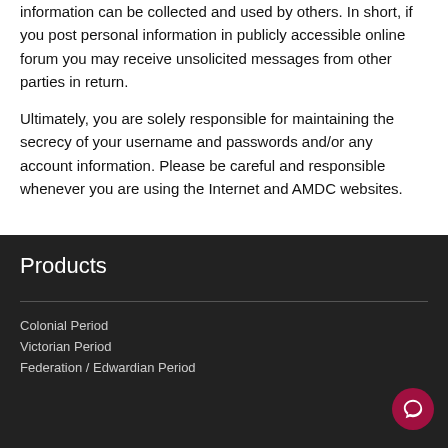information can be collected and used by others. In short, if you post personal information in publicly accessible online forum you may receive unsolicited messages from other parties in return.
Ultimately, you are solely responsible for maintaining the secrecy of your username and passwords and/or any account information. Please be careful and responsible whenever you are using the Internet and AMDC websites.
Products
Colonial Period
Victorian Period
Federation / Edwardian Period